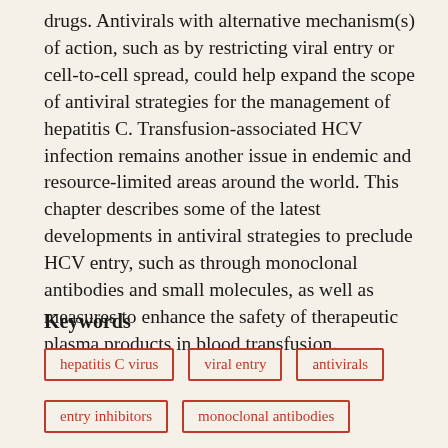drugs. Antivirals with alternative mechanism(s) of action, such as by restricting viral entry or cell-to-cell spread, could help expand the scope of antiviral strategies for the management of hepatitis C. Transfusion-associated HCV infection remains another issue in endemic and resource-limited areas around the world. This chapter describes some of the latest developments in antiviral strategies to preclude HCV entry, such as through monoclonal antibodies and small molecules, as well as measures to enhance the safety of therapeutic plasma products in blood transfusion.
Keywords
hepatitis C virus
viral entry
antivirals
entry inhibitors
monoclonal antibodies